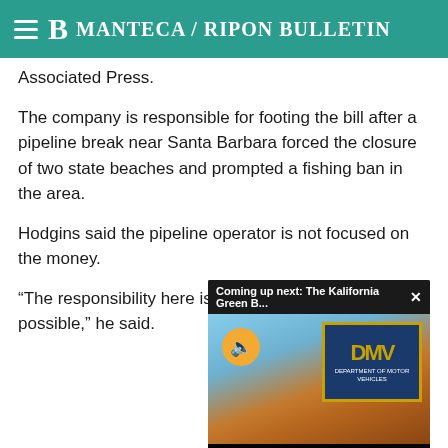Manteca / Ripon Bulletin
Associated Press.
The company is responsible for footing the bill after a pipeline break near Santa Barbara forced the closure of two state beaches and prompted a fishing ban in the area.
Hodgins said the pipeline operator is not focused on the money.
“The responsibility here is possible,” he said.
[Figure (screenshot): Video overlay popup reading 'Coming up next: The Kalifornia Green B...' with an X close button, showing a thumbnail of a DMV (Department of Motor Vehicles) sign with text: COMING UP NEXT: THE KALIFORNIA GREEN BUREAU (KGB) REPLACING GAS TAX REVENUE LOST TO EV USE. A muted/unmute button (orange circle with speaker icon) is visible.]
About 76 percent of 97 mi beaches – have been clea and other tools to scrape o labor-intensive process tha